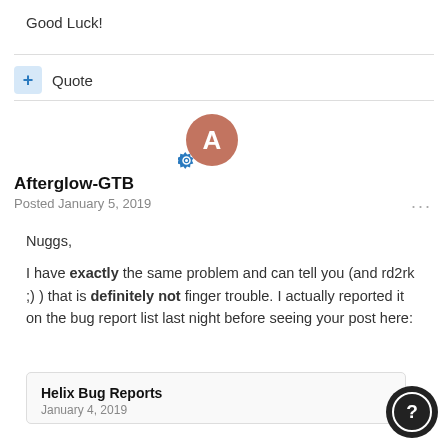Good Luck!
+ Quote
Afterglow-GTB
Posted January 5, 2019
Nuggs,

I have exactly the same problem and can tell you (and rd2rk ;) ) that is definitely not finger trouble. I actually reported it on the bug report list last night before seeing your post here:
Helix Bug Reports
January 4, 2019